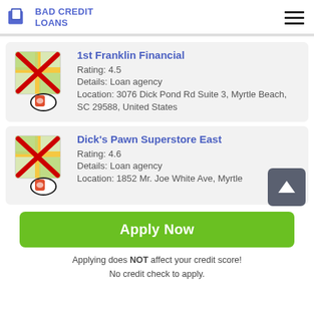BAD CREDIT LOANS
[Figure (screenshot): Map thumbnail with red X overlay for 1st Franklin Financial]
1st Franklin Financial
Rating: 4.5
Details: Loan agency
Location: 3076 Dick Pond Rd Suite 3, Myrtle Beach, SC 29588, United States
[Figure (screenshot): Map thumbnail with red X overlay for Dick's Pawn Superstore East]
Dick's Pawn Superstore East
Rating: 4.6
Details: Loan agency
Location: 1852 Mr. Joe White Ave, Myrtle
Apply Now
Applying does NOT affect your credit score!
No credit check to apply.